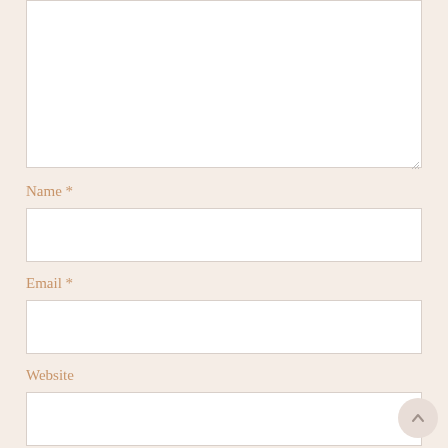[textarea box — comment input area]
Name *
[Name input field]
Email *
[Email input field]
Website
[Website input field]